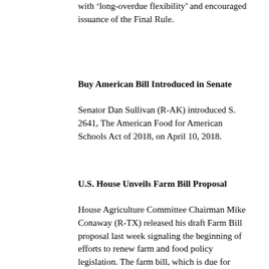with 'long-overdue flexibility' and encouraged issuance of the Final Rule.
Buy American Bill Introduced in Senate
Senator Dan Sullivan (R-AK) introduced S. 2641, The American Food for American Schools Act of 2018, on April 10, 2018.
U.S. House Unveils Farm Bill Proposal
House Agriculture Committee Chairman Mike Conaway (R-TX) released his draft Farm Bill proposal last week signaling the beginning of efforts to renew farm and food policy legislation. The farm bill, which is due for reauthorization in 2019, covers five years of funding and policy changes in matters involving USDA. SNA continues to monitor progress on the bill and to urge House and Senate Agriculture Committee members to push for an expansion of USDA Foods to support the School Breakfast Program as